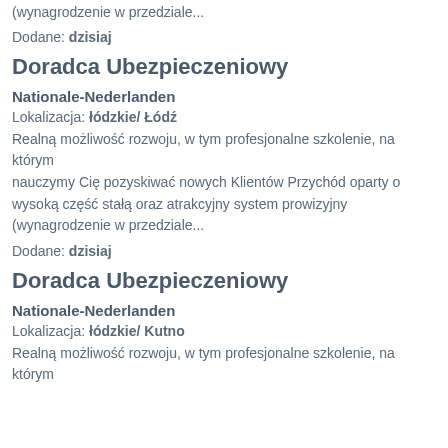(wynagrodzenie w przedziale...
Dodane: dzisiaj
Doradca Ubezpieczeniowy
Nationale-Nederlanden
Lokalizacja: łódzkie/ Łódź
Realną możliwość rozwoju, w tym profesjonalne szkolenie, na którym nauczymy Cię pozyskiwać nowych Klientów Przychód oparty o wysoką część stałą oraz atrakcyjny system prowizyjny (wynagrodzenie w przedziale...
Dodane: dzisiaj
Doradca Ubezpieczeniowy
Nationale-Nederlanden
Lokalizacja: łódzkie/ Kutno
Realną możliwość rozwoju, w tym profesjonalne szkolenie, na którym